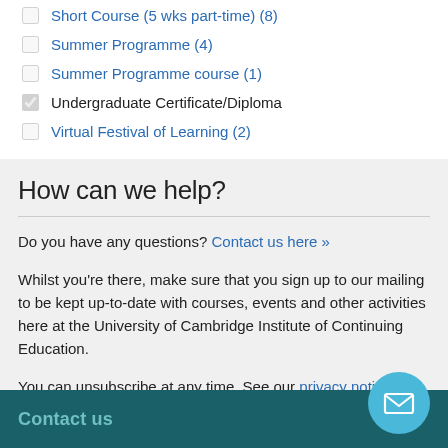Short Course (5 wks part-time) (8)
Summer Programme (4)
Summer Programme course (1)
Undergraduate Certificate/Diploma [checked]
Virtual Festival of Learning (2)
How can we help?
Do you have any questions? Contact us here »
Whilst you're there, make sure that you sign up to our mailing to be kept up-to-date with courses, events and other activities here at the University of Cambridge Institute of Continuing Education.
You can unsubscribe at any time. See our privacy notice for more information on how we take care of your data
Contact us